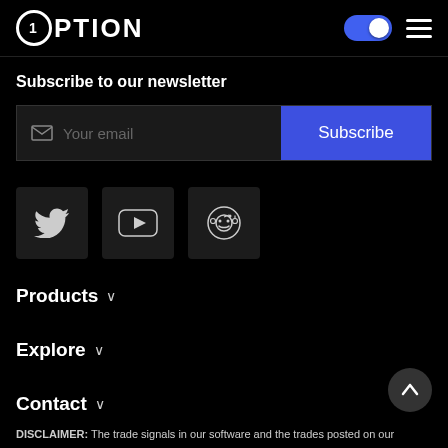1Option
Subscribe to our newsletter
Your email | Subscribe
[Figure (infographic): Social media icons: Twitter, YouTube, Reddit]
Products ∨
Explore ∨
Contact ∨
DISCLAIMER: The trade signals in our software and the trades posted on our